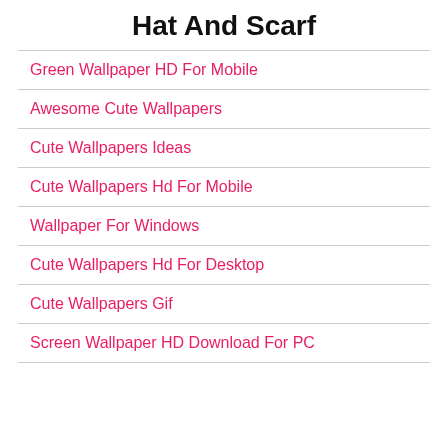Hat And Scarf
Green Wallpaper HD For Mobile
Awesome Cute Wallpapers
Cute Wallpapers Ideas
Cute Wallpapers Hd For Mobile
Wallpaper For Windows
Cute Wallpapers Hd For Desktop
Cute Wallpapers Gif
Screen Wallpaper HD Download For PC